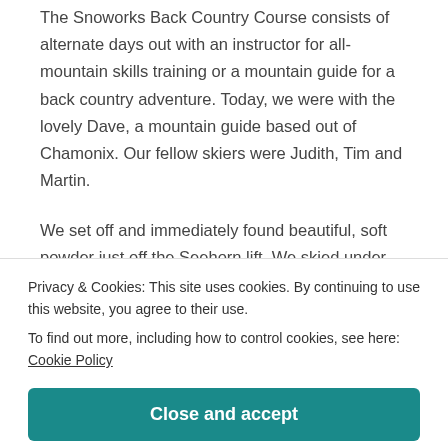The Snoworks Back Country Course consists of alternate days out with an instructor for all-mountain skills training or a mountain guide for a back country adventure. Today, we were with the lovely Dave, a mountain guide based out of Chamonix. Our fellow skiers were Judith, Tim and Martin.

We set off and immediately found beautiful, soft powder just off the Seehorn lift. We skied under the lift (which was tricky navigating over the rocks) crossed the piste and then dropped in through the trees. We
Privacy & Cookies: This site uses cookies. By continuing to use this website, you agree to their use.
To find out more, including how to control cookies, see here: Cookie Policy
Close and accept
[Figure (photo): Partial photo strip at the bottom of the page, appearing to show a person, partially visible.]